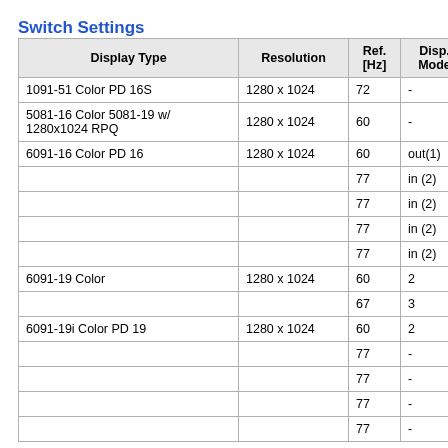Switch Settings
| Display Type | Resolution | Ref. [Hz] | Disp. Mode |
| --- | --- | --- | --- |
| 1091-51 Color PD 16S | 1280 x 1024 | 72 | - |
| 5081-16 Color 5081-19 w/ 1280x1024 RPQ | 1280 x 1024 | 60 | - |
| 6091-16 Color PD 16 | 1280 x 1024 | 60 | out(1) |
|  |  | 77 | in (2) |
|  |  | 77 | in (2) |
|  |  | 77 | in (2) |
|  |  | 77 | in (2) |
| 6091-19 Color | 1280 x 1024 | 60 | 2 |
|  |  | 67 | 3 |
| 6091-19i Color PD 19 | 1280 x 1024 | 60 | 2 |
|  |  | 77 | - |
|  |  | 77 | - |
|  |  | 77 | - |
|  |  | 77 | - |